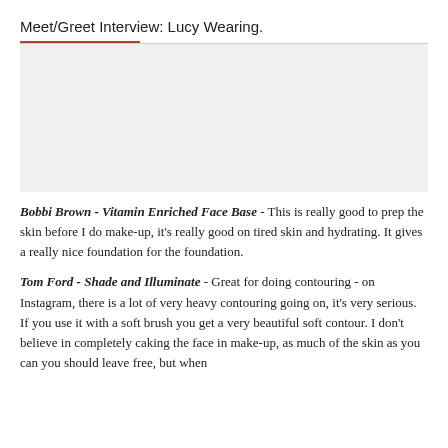Meet/Greet Interview: Lucy Wearing.
[Figure (photo): A light gray placeholder image block, likely a photo of Lucy Wearing or a makeup product.]
Bobbi Brown - Vitamin Enriched Face Base - This is really good to prep the skin before I do make-up, it's really good on tired skin and hydrating. It gives a really nice foundation for the foundation.
Tom Ford - Shade and Illuminate - Great for doing contouring - on Instagram, there is a lot of very heavy contouring going on, it's very serious. If you use it with a soft brush you get a very beautiful soft contour. I don't believe in completely caking the face in make-up, as much of the skin as you can you should leave free, but when